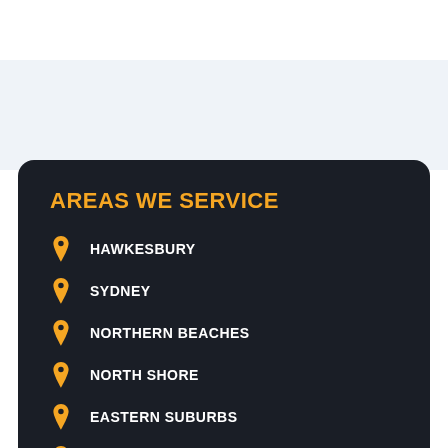AREAS WE SERVICE
HAWKESBURY
SYDNEY
NORTHERN BEACHES
NORTH SHORE
EASTERN SUBURBS
HILLS DISTRICT